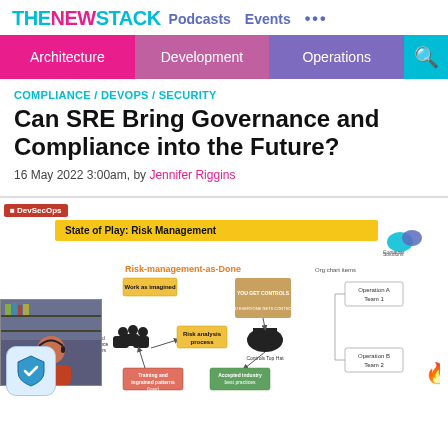THE NEW STACK  Podcasts  Events  ...
Architecture  Development  Operations
COMPLIANCE / DEVOPS / SECURITY
Can SRE Bring Governance and Compliance into the Future?
16 May 2022 3:00am, by Jennifer Riggins
[Figure (screenshot): Screenshot of a presentation slide titled 'State of Play: Risk Management' showing a diagram of Risk-management-as-Done with boxes labeled Work as imagined, Risk analysis process, Risk and Compliance Managers, Training and ingrained patterns (loss), Controls Top Hat, Accepted industry best practices, and an org chart legend with Operation A Team 1 and Operation B Team 2. A webcam overlay of a presenter is visible in the lower left.]